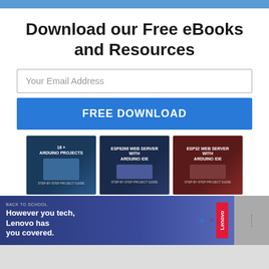Download our Free eBooks and Resources
Your Email Address
FREE DOWNLOAD
[Figure (illustration): Three eBook covers displayed side by side: '18+ Arduino Projects', 'ESP8266 Web Server with Arduino IDE', 'ESP32 Web Server with Arduino IDE', plus partial view of 'Ultimate Guide for Arduino Shield/Modules' and 'Arduino Mini Course']
BACK TO SCHOOL. However you tech, Lenovo has you covered.